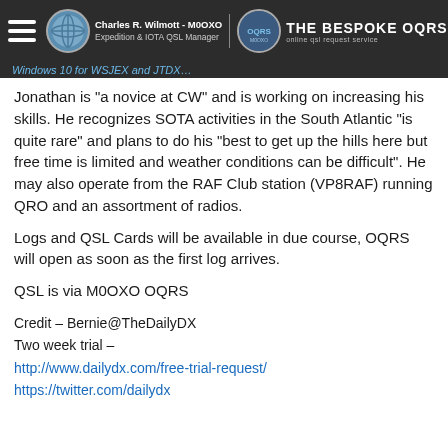Windows 10 for WSJEX and JTDX [cut off] | Charles R. Wilmott - M0OXO | THE BESPOKE OQRS
Jonathan is "a novice at CW" and is working on increasing his skills. He recognizes SOTA activities in the South Atlantic "is quite rare" and plans to do his "best to get up the hills here but free time is limited and weather conditions can be difficult". He may also operate from the RAF Club station (VP8RAF) running QRO and an assortment of radios.
Logs and QSL Cards will be available in due course, OQRS will open as soon as the first log arrives.
QSL is via M0OXO OQRS
Credit – Bernie@TheDailyDX
Two week trial –
http://www.dailydx.com/free-trial-request/
https://twitter.com/dailydx